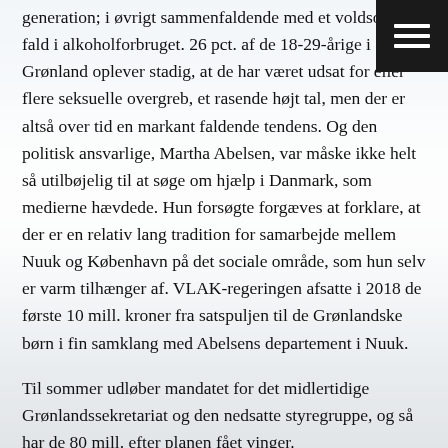generation; i øvrigt sammenfaldende med et voldsomt fald i alkoholforbruget. 26 pct. af de 18-29-årige i Grønland oplever stadig, at de har været udsat for eller flere seksuelle overgreb, et rasende højt tal, men der er altså over tid en markant faldende tendens. Og den politisk ansvarlige, Martha Abelsen, var måske ikke helt så utilbøjelig til at søge om hjælp i Danmark, som medierne hævdede. Hun forsøgte forgæves at forklare, at der er en relativ lang tradition for samarbejde mellem Nuuk og København på det sociale område, som hun selv er varm tilhænger af. VLAK-regeringen afsatte i 2018 de første 10 mill. kroner fra satspuljen til de Grønlandske børn i fin samklang med Abelsens departement i Nuuk.
Til sommer udløber mandatet for det midlertidige Grønlandssekretariat og den nedsatte styregruppe, og så har de 80 mill. efter planen fået vinger.